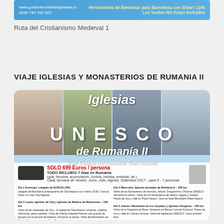[Figure (infographic): Blue banner with website www.goldenkronefransylvania.ro and phone 0040 749 705 243 on left, and text 'Los Vuelos NO Estan Incluidos' on right in yellow]
Ruta del Cristianismo Medieval 1
VIAJE IGLESIAS Y MONASTERIOS DE RUMANIA II
[Figure (infographic): Travel promotional flyer for Iglesias UNESCO de Rumanía II. Features church photos collage, large text 'Iglesias', 'UNESCO', 'de Rumanía II', subtitle 'Viaje Guiado con Limusina Todo Incluido', price SOLO 699 Euros/persona, TODO INCLUIDO 7 Dias en Rumania (guia, limusina, acomodación, comida, bebidas, entradas, etc.), Cada Semana de Verano: Junio, Julio, Agosto, Setiembre 2017 - para 5-7 personas. Day descriptions for Dia 1 through Dia 5.]